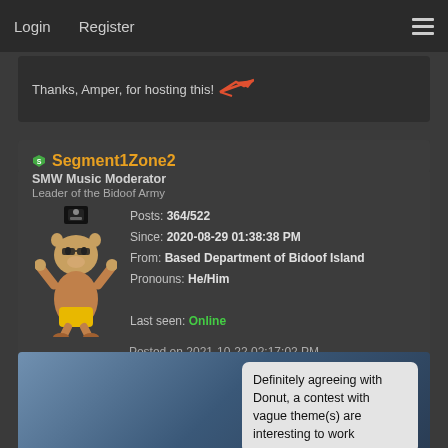Login  Register
Thanks, Amper, for hosting this!
Segment1Zone2
SMW Music Moderator
Leader of the Bidoof Army
Posts: 364/522
Since: 2020-08-29 01:38:38 PM
From: Based Department of Bidoof Island
Pronouns: He/Him
Last seen: Online
Posted on 2021-10-22 02:17:02 PM
Link
[Figure (screenshot): Screenshot of a game scene with a speech bubble containing text: Definitely agreeing with Donut, a contest with vague theme(s) are interesting to work]